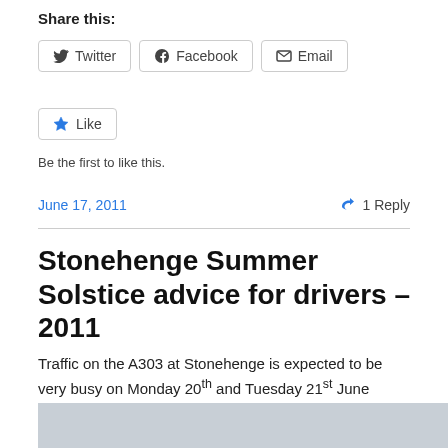Share this:
[Figure (screenshot): Social sharing buttons: Twitter, Facebook, Email]
[Figure (screenshot): Like button with star icon]
Be the first to like this.
June 17, 2011    1 Reply
Stonehenge Summer Solstice advice for drivers – 2011
Traffic on the A303 at Stonehenge is expected to be very busy on Monday 20th and Tuesday 21st June during the summer solstice celebrations.
[Figure (photo): Partial image at bottom of page, light blue-grey background]